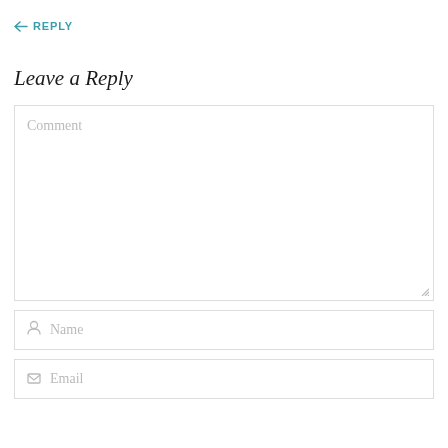← REPLY
Leave a Reply
Comment
Name
Email